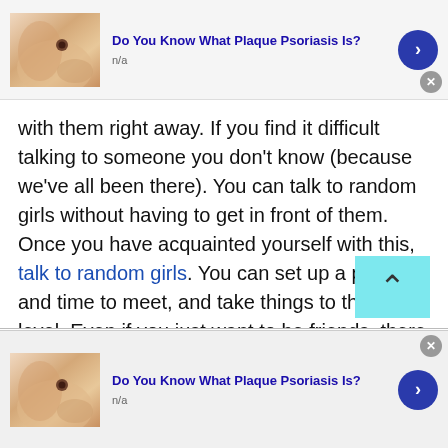[Figure (screenshot): Top advertisement banner: skin/hand photo thumbnail on left, 'Do You Know What Plaque Psoriasis Is?' title in blue bold text, 'n/a' subtitle, blue circle arrow button on right, gray X close button bottom-right]
with them right away. If you find it difficult talking to someone you don't know (because we've all been there). You can talk to random girls without having to get in front of them. Once you have acquainted yourself with this, talk to random girls. You can set up a place and time to meet, and take things to the next level. Even if you just want to be friends, there is nothing stopping you. TWS gives you all the freedom in the world you need to take things as slow as you want.
[Figure (screenshot): Bottom advertisement banner (partial cutoff): skin/hand photo thumbnail on left, 'Do You Know What Plaque Psoriasis Is?' title in blue bold text, 'n/a' subtitle, blue circle arrow button on right, gray X close button top-right]